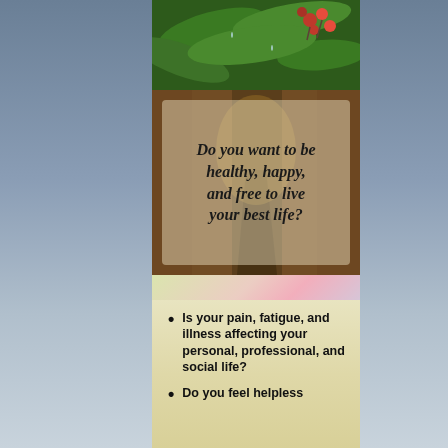[Figure (photo): Green leaves with red berries at top of page]
[Figure (photo): Pathway through golden autumn trees with italic text overlay reading: Do you want to be healthy, happy, and free to live your best life?]
Do you want to be healthy, happy, and free to live your best life?
Is your pain, fatigue, and illness affecting your personal, professional, and social life?
Do you feel helpless